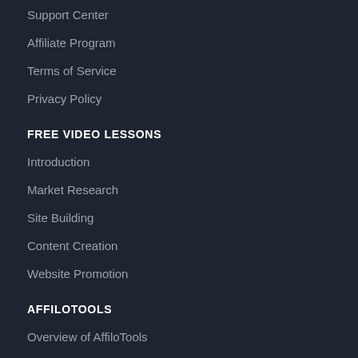Support Center
Affiliate Program
Terms of Service
Privacy Policy
FREE VIDEO LESSONS
Introduction
Market Research
Site Building
Content Creation
Website Promotion
AFFILOTOOLS
Overview of AffiloTools
Search Marketing Tools